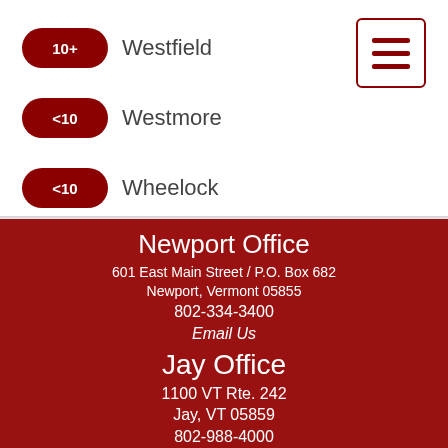10+ Westfield
<10 Westmore
<10 Wheelock
[Figure (other): Hamburger menu icon button with three horizontal dark red lines inside a square border]
Newport Office
601 East Main Street / P.O. Box 682
Newport, Vermont 05855
802-334-3400
Email Us
Jay Office
1100 VT Rte. 242
Jay, VT 05859
802-988-4000